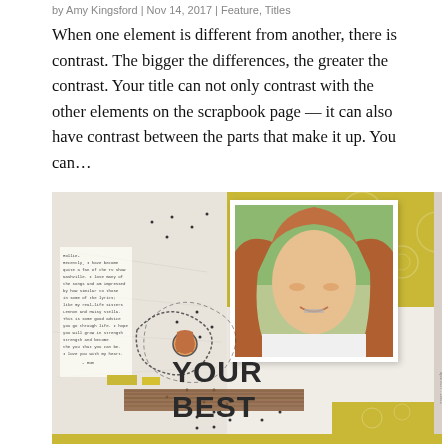by Amy Kingsford | Nov 14, 2017 | Feature, Titles
When one element is different from another, there is contrast. The bigger the differences, the greater the contrast. Your title can not only contrast with the other elements on the scrapbook page — it can also have contrast between the parts that make it up. You can...
[Figure (photo): Scrapbook page layout featuring a smiling red-haired girl in a white photo, with 'YOUR BEST' title text, yellow/gold patterned background, handwritten journaling, ribbon/twine embellishment, and scattered dot details.]